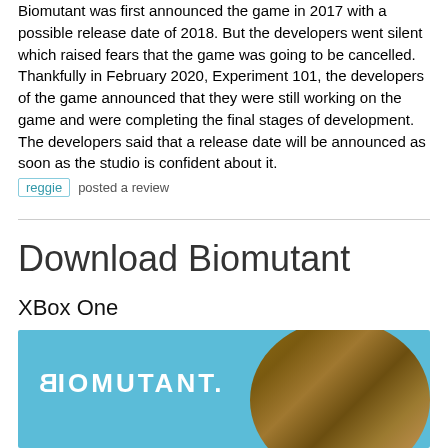Biomutant was first announced the game in 2017 with a possible release date of 2018. But the developers went silent which raised fears that the game was going to be cancelled. Thankfully in February 2020, Experiment 101, the developers of the game announced that they were still working on the game and were completing the final stages of development. The developers said that a release date will be announced as soon as the studio is confident about it.
reggie posted a review
Download Biomutant
XBox One
[Figure (photo): Biomutant game cover image showing the BIOMUTANT logo text on a blue sky background with a raccoon-like creature character on the right side]